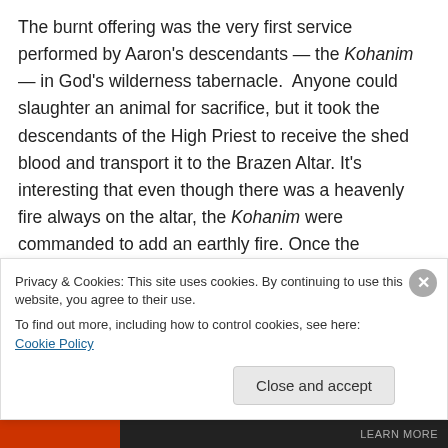The burnt offering was the very first service performed by Aaron's descendants — the Kohanim — in God's wilderness tabernacle. Anyone could slaughter an animal for sacrifice, but it took the descendants of the High Priest to receive the shed blood and transport it to the Brazen Altar. It's interesting that even though there was a heavenly fire always on the altar, the Kohanim were commanded to add an earthly fire. Once the Kohanim arranged all the cut up parts on the fire, they tended the fire until the sacrifice was totally consumed. As a side, the smoke that rises up to God from the burnt
Privacy & Cookies: This site uses cookies. By continuing to use this website, you agree to their use.
To find out more, including how to control cookies, see here: Cookie Policy
Close and accept